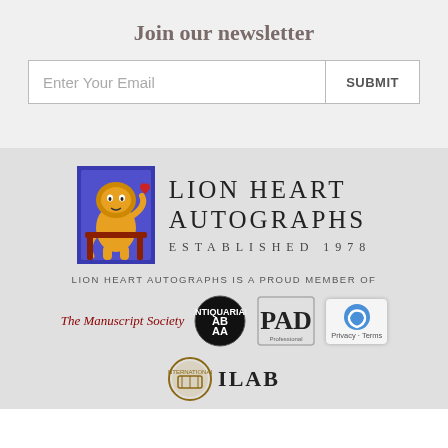Join our newsletter
Enter Your Email | SUBMIT
[Figure (logo): Lion Heart Autographs logo with heraldic lion holding a heart, established 1978]
LION HEART AUTOGRAPHS IS A PROUD MEMBER OF
[Figure (logo): Member organization logos: The Manuscript Society, ABAA (Antiquarian Booksellers Association of America), PADA, ILAB, reCAPTCHA badge]